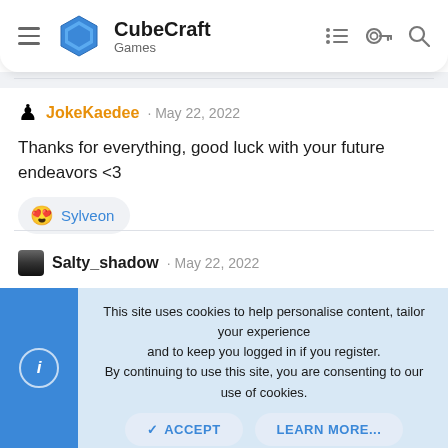CubeCraft Games
JokeKaedee · May 22, 2022
Thanks for everything, good luck with your future endeavors <3
😍 Sylveon
Salty_shadow · May 22, 2022
You were an amazing helper to be on the same wave with :D <3
This site uses cookies to help personalise content, tailor your experience and to keep you logged in if you register.
By continuing to use this site, you are consenting to our use of cookies.